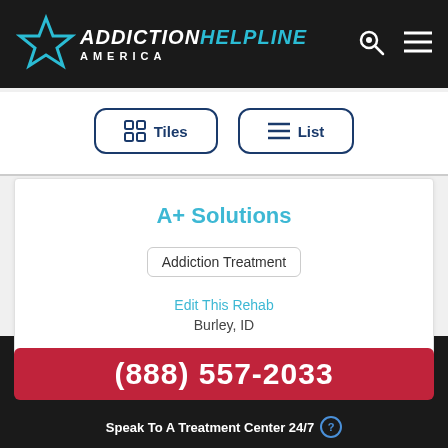ADDICTION HELPLINE AMERICA
Tiles  List
A+ Solutions
Addiction Treatment
Edit This Rehab
Burley, ID
(888) 557-2033
Speak To A Treatment Center 24/7